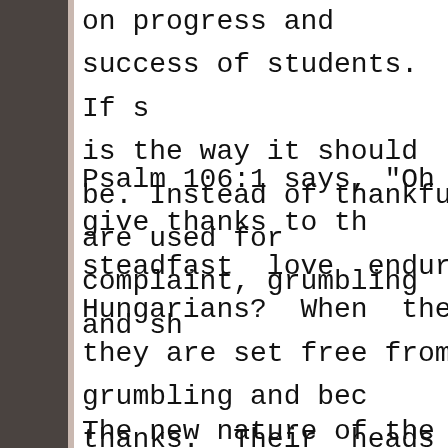on progress and success of students. If s is the way it should be. Instead of thankfu are used for complaint, grumbling and sh
Psalm 106:1 says, "Oh give thanks to th steadfast love endures forever!" Hov Hungarians? When they experience Go they are set free from grumbling and bec thanks. Their heads are taken from only s lifted to see Jesus Christ and their adop grace.
The new nature of the Hungarian Christia